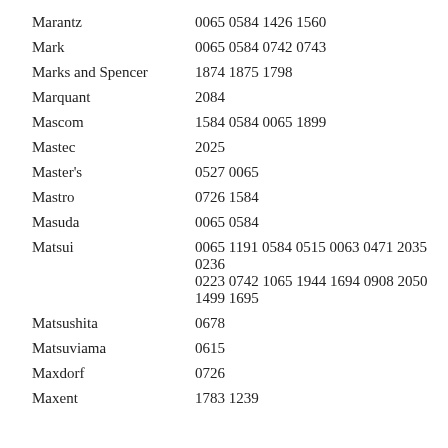| Marantz | 0065 0584 1426 1560 |
| Mark | 0065 0584 0742 0743 |
| Marks and Spencer | 1874 1875 1798 |
| Marquant | 2084 |
| Mascom | 1584 0584 0065 1899 |
| Mastec | 2025 |
| Master's | 0527 0065 |
| Mastro | 0726 1584 |
| Masuda | 0065 0584 |
| Matsui | 0065 1191 0584 0515 0063 0471 2035 0236 0223 0742 1065 1944 1694 0908 2050 1499 1695 |
| Matsushita | 0678 |
| Matsuviama | 0615 |
| Maxdorf | 0726 |
| Maxent | 1783 1239 |